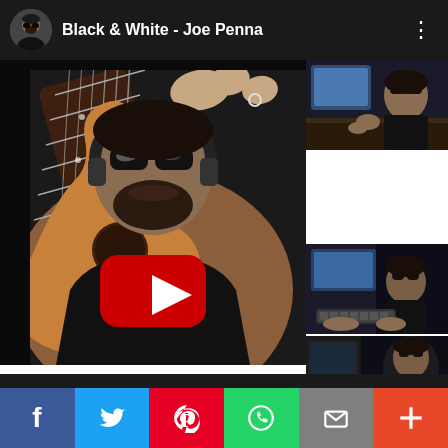Black & White - Joe Penna
[Figure (screenshot): YouTube video thumbnail showing a man with sunglasses and headphones playing an acoustic guitar, with YouTube play button overlay. Side panel shows three smaller thumbnails of a man in a studio with sunglasses.]
[Figure (screenshot): Social share bar with Facebook, Twitter, Pinterest, WhatsApp, Email, and More buttons]